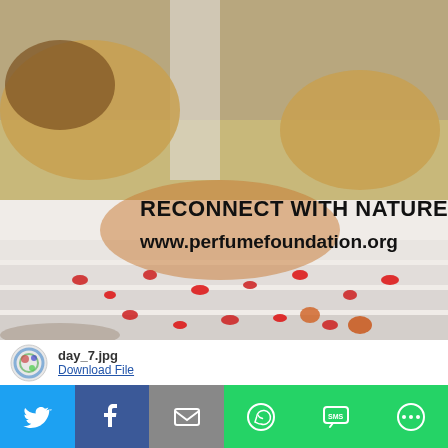[Figure (illustration): A classical painting depicting a person in white robes surrounded by lions and tigers on marble steps, with red flowers/petals scattered around. Overlaid text reads 'RECONNECT WITH NATURE' and 'www.perfumefoundation.org']
day_7.jpg Download File
[Figure (infographic): Social media share bar with icons for Twitter, Facebook, Email, WhatsApp, SMS, and More options]